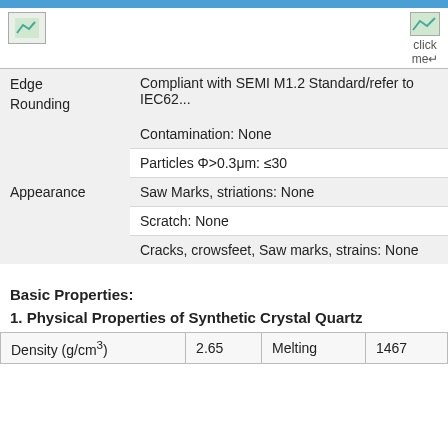| Edge Rounding | Compliant with SEMI M1.2 Standard/refer to IEC62... |
| --- | --- |
|  | Contamination: None |
|  | Particles Φ>0.3μm: ≤30 |
| Appearance | Saw Marks, striations: None |
|  | Scratch: None |
|  | Cracks, crowsfeet, Saw marks, strains: None |
Basic Properties:
1. Physical Properties of Synthetic Crystal Quartz
| Density (g/cm³) | 2.65 | Melting | 1467 |
| --- | --- | --- | --- |